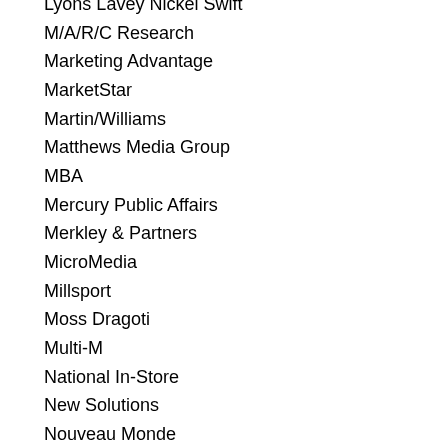Lyons Lavey Nickel Swift
M/A/R/C Research
Marketing Advantage
MarketStar
Martin/Williams
Matthews Media Group
MBA
Mercury Public Affairs
Merkley & Partners
MicroMedia
Millsport
Moss Dragoti
Multi-M
National In-Store
New Solutions
Nouveau Monde
Novus
Organic
Paris Venise Design
Pentamark
PGC Advertising
PhD